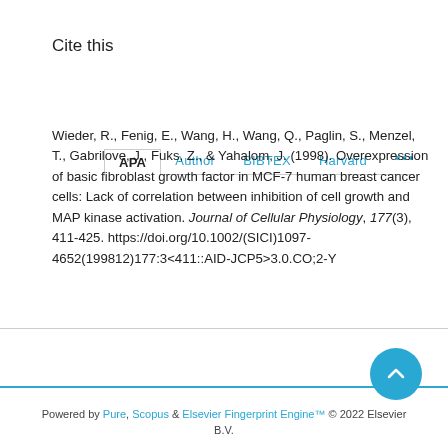Cite this
APA  Author  BIBTEX  Harvard  ...
Wieder, R., Fenig, E., Wang, H., Wang, Q., Paglin, S., Menzel, T., Gabrilove, J., Fuks, Z., & Yahalom, J. (1998). Overexpression of basic fibroblast growth factor in MCF-7 human breast cancer cells: Lack of correlation between inhibition of cell growth and MAP kinase activation. Journal of Cellular Physiology, 177(3), 411-425. https://doi.org/10.1002/(SICI)1097-4652(199812)177:3<411::AID-JCP5>3.0.CO;2-Y
Powered by Pure, Scopus & Elsevier Fingerprint Engine™ © 2022 Elsevier B.V.